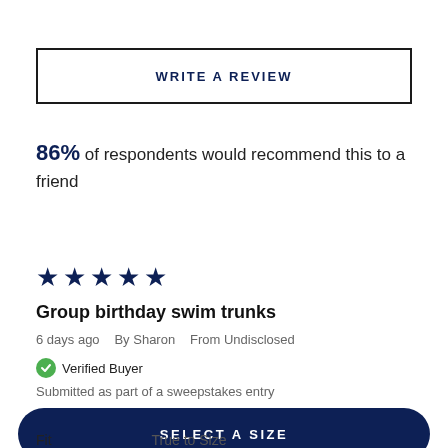WRITE A REVIEW
86% of respondents would recommend this to a friend
[Figure (other): Five filled dark navy star icons representing a 5-star rating]
Group birthday swim trunks
6 days ago  By Sharon  From Undisclosed
Verified Buyer
Submitted as part of a sweepstakes entry
SELECT A SIZE
Fit   True to Size